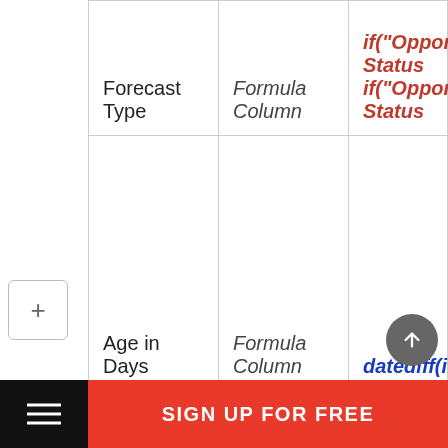|  | Formula Type | Formula Column | Formula |
| --- | --- | --- | --- |
| Forecast Type | Formula Column | if("Opportunity Status... |
| Age in Days | Formula Column | datediff(ifnull("Close... |
|  |  |  |
[Figure (screenshot): SIGN UP FOR FREE bottom bar with hamburger menu icon on black background on the left and red background on the right]